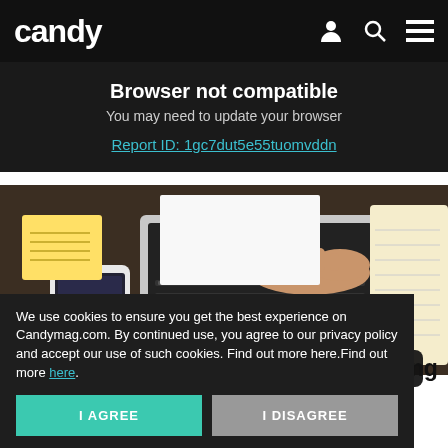candy
Browser not compatible
You may need to update your browser
Report ID: 1gc7dut5e55tuomvddn
[Figure (photo): Person typing on a laptop at a desk with sticky notes and a notebook; a smartphone showing 10:45 is visible]
Research Pay [Read on App] Ads Marketing Platform
Read on App
We use cookies to ensure you get the best experience on Candymag.com. By continued use, you agree to our privacy policy and accept our use of such cookies. Find out more here.Find out more here.
I AGREE
I DISAGREE